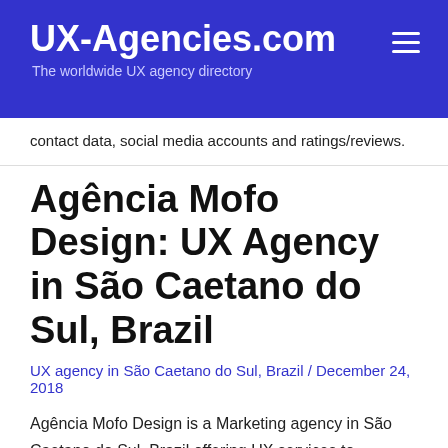UX-Agencies.com
The worldwide UX agency directory
contact data, social media accounts and ratings/reviews.
Agência Mofo Design: UX Agency in São Caetano do Sul, Brazil
UX agency in São Caetano do Sul, Brazil / December 24, 2018
Agência Mofo Design is a Marketing agency in São Caetano do Sul, Brazil offering UX services to customers. Check out this listing to find their contact data, social media accounts and ratings/reviews.